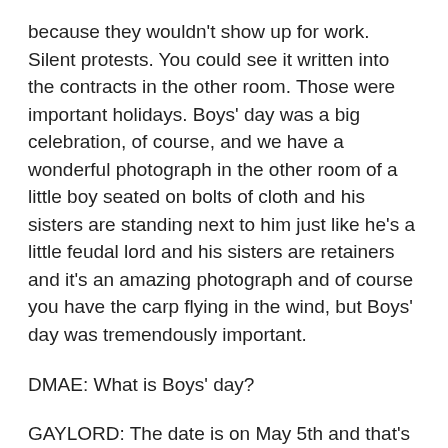because they wouldn't show up for work. Silent protests. You could see it written into the contracts in the other room. Those were important holidays. Boys' day was a big celebration, of course, and we have a wonderful photograph in the other room of a little boy seated on bolts of cloth and his sisters are standing next to him just like he's a little feudal lord and his sisters are retainers and it's an amazing photograph and of course you have the carp flying in the wind, but Boys' day was tremendously important.
DMAE: What is Boys' day?
GAYLORD: The date is on May 5th and that's when they pay special tribute to the boys, just like March 3rd is Girls' day. And they have displays of dolls and things like that for the girls. And other ethnic groups – we have a photograph of Risau day, which is celebrated by the